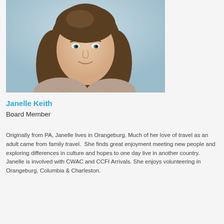[Figure (photo): Headshot photo of Janelle Keith, a woman with long brown wavy hair, smiling, wearing a patterned top, light blue/gray background]
Janelle Keith
Board Member
Originally from PA, Janelle lives in Orangeburg. Much of her love of travel as an adult came from family travel.  She finds great enjoyment meeting new people and exploring differences in culture and hopes to one day live in another country. Janelle is involved with CWAC and CCFI Arrivals. She enjoys volunteering in Orangeburg, Columbia & Charleston.